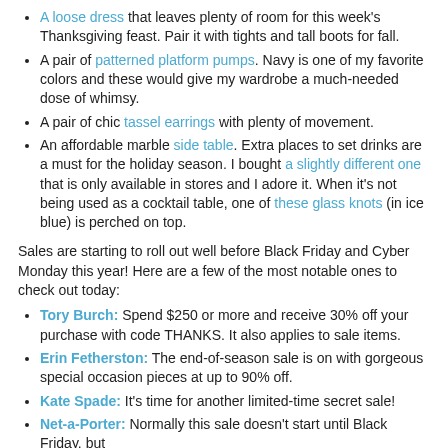A loose dress that leaves plenty of room for this week's Thanksgiving feast. Pair it with tights and tall boots for fall.
A pair of patterned platform pumps. Navy is one of my favorite colors and these would give my wardrobe a much-needed dose of whimsy.
A pair of chic tassel earrings with plenty of movement.
An affordable marble side table. Extra places to set drinks are a must for the holiday season. I bought a slightly different one that is only available in stores and I adore it. When it's not being used as a cocktail table, one of these glass knots (in ice blue) is perched on top.
Sales are starting to roll out well before Black Friday and Cyber Monday this year! Here are a few of the most notable ones to check out today:
Tory Burch: Spend $250 or more and receive 30% off your purchase with code THANKS. It also applies to sale items.
Erin Fetherston: The end-of-season sale is on with gorgeous special occasion pieces at up to 90% off.
Kate Spade: It's time for another limited-time secret sale!
Net-a-Porter: Normally this sale doesn't start until Black Friday, but